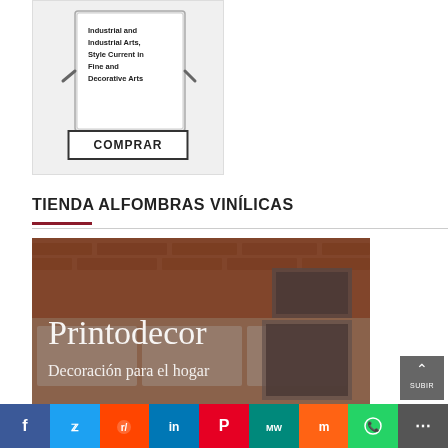[Figure (photo): Product image of a book stand/display stand with text 'Industrial and Industrial Arts, Style Current in Fine and Decorative Arts']
COMPRAR
TIENDA ALFOMBRAS VINÍLICAS
[Figure (photo): Kitchen banner image with overlay text 'Printodecor - Decoración para el hogar']
[Figure (other): Social sharing bar with icons for Facebook, Twitter, Reddit, LinkedIn, Pinterest, MW, Mix, WhatsApp, More]